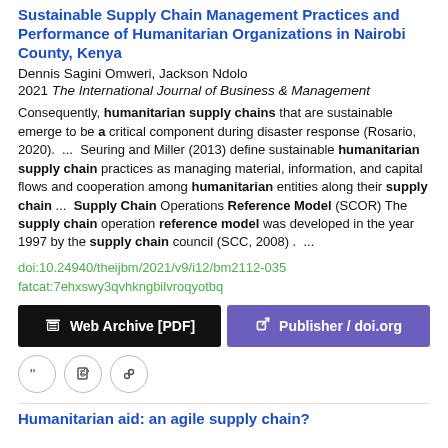Sustainable Supply Chain Management Practices and Performance of Humanitarian Organizations in Nairobi County, Kenya
Dennis Sagini Omweri, Jackson Ndolo
2021 The International Journal of Business & Management
Consequently, humanitarian supply chains that are sustainable emerge to be a critical component during disaster response (Rosario, 2020).  ...  Seuring and Miller (2013) define sustainable humanitarian supply chain practices as managing material, information, and capital flows and cooperation among humanitarian entities along their supply chain  ...  Supply Chain Operations Reference Model (SCOR) The supply chain operation reference model was developed in the year 1997 by the supply chain council (SCC, 2008) .  ...
doi:10.24940/theijbm/2021/v9/i12/bm2112-035
fatcat:7ehxswy3qvhkngbilvroqyotbq
[Figure (other): Two buttons: 'Web Archive [PDF]' (black background) and 'Publisher / doi.org' (purple background)]
[Figure (other): Three circular icon buttons: quote, edit, and link]
Humanitarian aid: an agile supply chain?